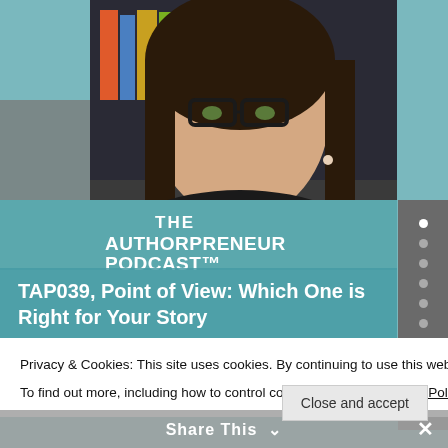[Figure (screenshot): Screenshot of The Authorpreneur Podcast website showing a woman with glasses in front of a bookshelf, podcast branding, and episode title TAP039 Point of View: Which One is Right for Your Story. A cookie consent banner and Share This toolbar are overlaid at the bottom.]
THE AUTHORPRENEUR PODCAST™
TAP039, Point of View: Which One is Right for Your Story
Privacy & Cookies: This site uses cookies. By continuing to use this website, you agree to their use.
To find out more, including how to control cookies, see here: Cookie Policy
Close and accept
Share This